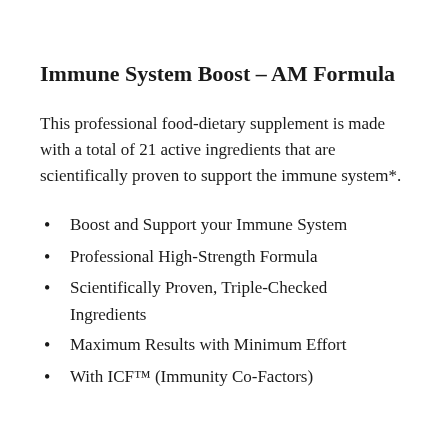Immune System Boost – AM Formula
This professional food-dietary supplement is made with a total of 21 active ingredients that are scientifically proven to support the immune system*.
Boost and Support your Immune System
Professional High-Strength Formula
Scientifically Proven, Triple-Checked Ingredients
Maximum Results with Minimum Effort
With ICF™ (Immunity Co-Factors)